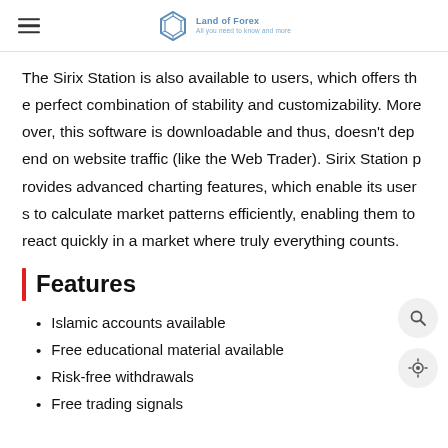Land of Forex — All you need to know and more
The Sirix Station is also available to users, which offers the perfect combination of stability and customizability. Moreover, this software is downloadable and thus, doesn't depend on website traffic (like the Web Trader). Sirix Station provides advanced charting features, which enable its users to calculate market patterns efficiently, enabling them to react quickly in a market where truly everything counts.
Features
Islamic accounts available
Free educational material available
Risk-free withdrawals
Free trading signals